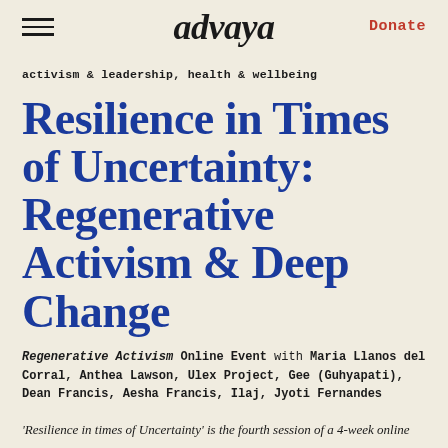advaya | Donate
activism & leadership, health & wellbeing
Resilience in Times of Uncertainty: Regenerative Activism & Deep Change
Regenerative Activism Online Event with Maria Llanos del Corral, Anthea Lawson, Ulex Project, Gee (Guhyapati), Dean Francis, Aesha Francis, Ilaj, Jyoti Fernandes
'Resilience in times of Uncertainty' is the fourth session of a 4-week online